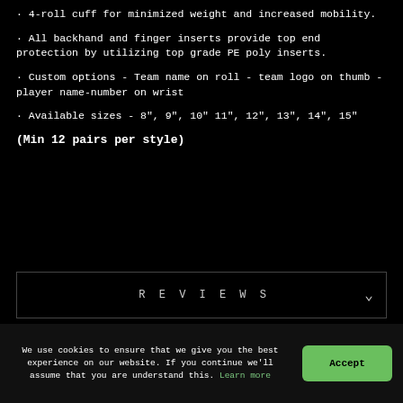· 4-roll cuff for minimized weight and increased mobility.
· All backhand and finger inserts provide top end protection by utilizing top grade PE poly inserts.
· Custom options - Team name on roll - team logo on thumb - player name-number on wrist
· Available sizes - 8", 9", 10" 11", 12", 13", 14", 15"
(Min 12 pairs per style)
REVIEWS
Share   Tweet
We use cookies to ensure that we give you the best experience on our website. If you continue we'll assume that you are understand this. Learn more